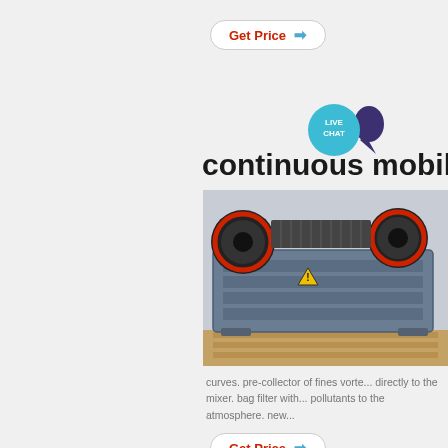[Figure (other): Get Price button with red text and blue arrow, rounded border, top of page]
[Figure (other): Live Chat bubble icon in teal blue circle with chat tail in dark purple]
continuous mobile
[Figure (photo): Industrial machinery - large blue/grey crusher or mixer equipment with black drums/rollers on top and red accents, on wooden pallet in warehouse]
curves. pre-collector of fines vorte... directly to the mixer. bag filter with... pollutants to the atmosphere. new...
[Figure (other): Get Price button with red text and blue arrow, rounded border, bottom of page]
continuous mi